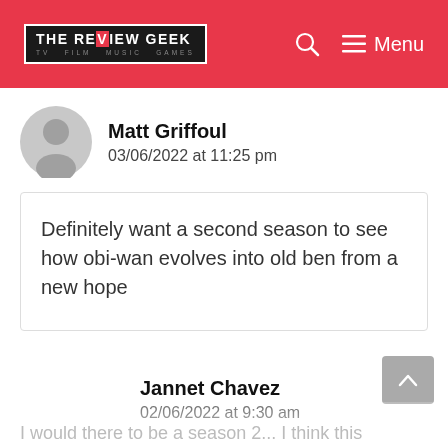THE REVIEW GEEK — TV FILM MUSIC GAMES
Matt Griffoul
03/06/2022 at 11:25 pm
Definitely want a second season to see how obi-wan evolves into old ben from a new hope
Jannet Chavez
02/06/2022 at 9:30 am
I would there to be a season 2... I think this